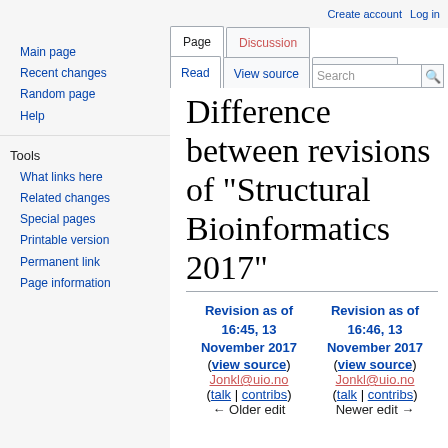Create account  Log in
Page  Discussion  Read  View source  View history  Search
Difference between revisions of "Structural Bioinformatics 2017"
Revision as of 16:45, 13 November 2017 (view source) Jonkl@uio.no (talk | contribs) ← Older edit
Revision as of 16:46, 13 November 2017 (view source) Jonkl@uio.no (talk | contribs) Newer edit →
Main page
Recent changes
Random page
Help
What links here
Related changes
Special pages
Printable version
Permanent link
Page information